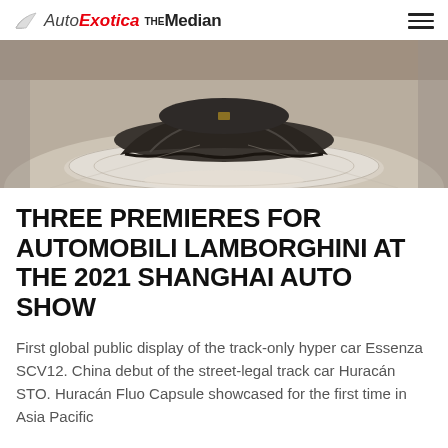AutoExotica The Median
[Figure (photo): A car covered with a dark cloth/drape on a circular platform in a dark showroom setting, viewed from above/front]
THREE PREMIERES FOR AUTOMOBILI LAMBORGHINI AT THE 2021 SHANGHAI AUTO SHOW
First global public display of the track-only hyper car Essenza SCV12. China debut of the street-legal track car Huracán STO. Huracán Fluo Capsule showcased for the first time in Asia Pacific